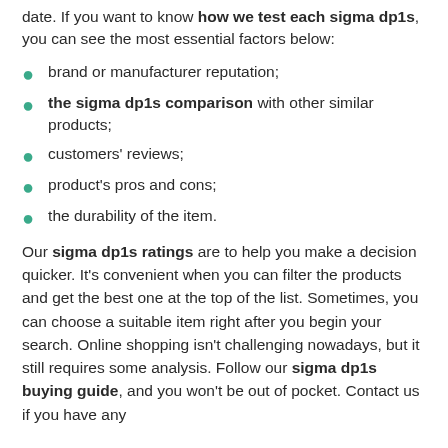date. If you want to know how we test each sigma dp1s, you can see the most essential factors below:
brand or manufacturer reputation;
the sigma dp1s comparison with other similar products;
customers' reviews;
product's pros and cons;
the durability of the item.
Our sigma dp1s ratings are to help you make a decision quicker. It's convenient when you can filter the products and get the best one at the top of the list. Sometimes, you can choose a suitable item right after you begin your search. Online shopping isn't challenging nowadays, but it still requires some analysis. Follow our sigma dp1s buying guide, and you won't be out of pocket. Contact us if you have any